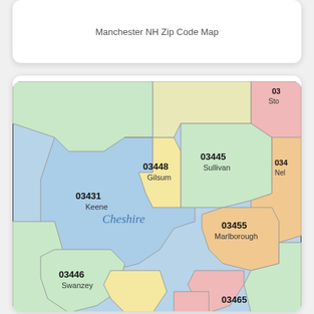Manchester NH Zip Code Map
[Figure (map): Manchester NH Zip Code Map showing Cheshire County area with zip codes 03448 (Gilsum), 03445 (Sullivan), 03431 (Keene), 03455 (Marlborough), 03446 (Swanzey), 03465, and partial zip codes 03 (Stoddard area) and 034 (Nelson area). The map displays colored regions for each zip code zone.]